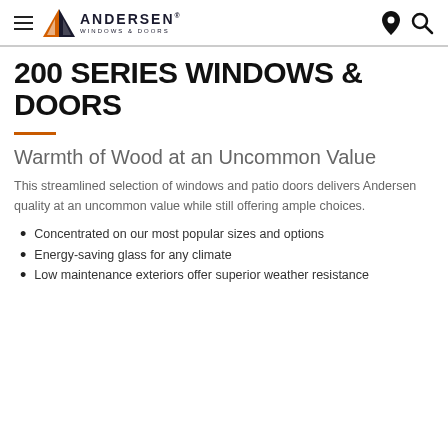ANDERSEN WINDOWS & DOORS — navigation header with hamburger menu, location pin, and search icon
200 SERIES WINDOWS & DOORS
Warmth of Wood at an Uncommon Value
This streamlined selection of windows and patio doors delivers Andersen quality at an uncommon value while still offering ample choices.
Concentrated on our most popular sizes and options
Energy-saving glass for any climate
Low maintenance exteriors offer superior weather resistance